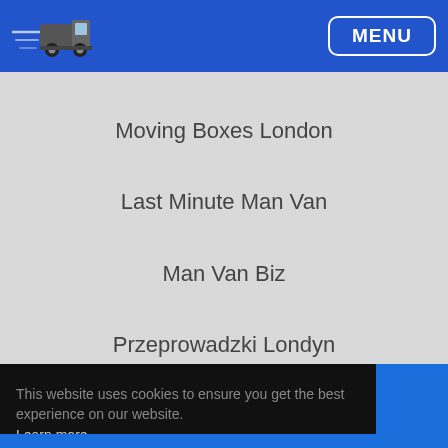[Figure (logo): Moving van/truck logo with motion lines, white on blue background]
MENU
Moving Boxes London
Last Minute Man Van
Man Van Biz
Przeprowadzki Londyn
Copyright © 2004 - 2022
This website uses cookies to ensure you get the best experience on our website. Learn more
Got it!